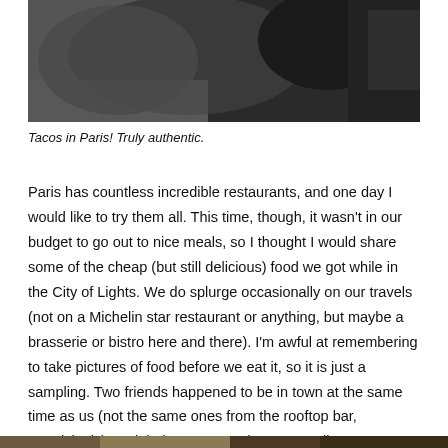[Figure (photo): Close-up photo of a person wearing dark clothing, outdoor setting]
Tacos in Paris! Truly authentic.
Paris has countless incredible restaurants, and one day I would like to try them all. This time, though, it wasn't in our budget to go out to nice meals, so I thought I would share some of the cheap (but still delicious) food we got while in the City of Lights. We do splurge occasionally on our travels (not on a Michelin star restaurant or anything, but maybe a brasserie or bistro here and there). I'm awful at remembering to take pictures of food before we eat it, so it is just a sampling. Two friends happened to be in town at the same time as us (not the same ones from the rooftop bar, surprisingly), and their parents took us out to dinner to a delicious restaurant, and my parents have also taken us out to eat. Besides that, though, we rely on grocery stores, picnics, and cooking at our different homes.
[Figure (photo): Partial photo visible at bottom of page]